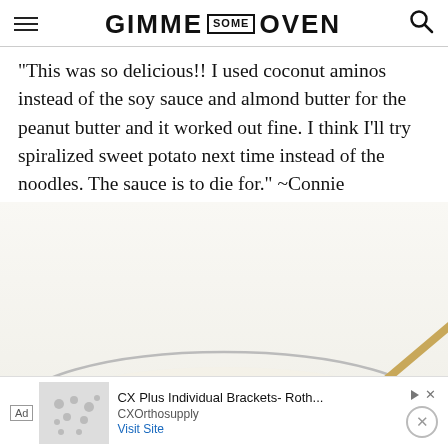GIMME SOME OVEN
“This was so delicious!! I used coconut aminos instead of the soy sauce and almond butter for the peanut butter and it worked out fine. I think I’ll try spiralized sweet potato next time instead of the noodles. The sauce is to die for.” ~Connie
[Figure (photo): A hand holding chopsticks over a bowl, with food visible below, light background]
Ad   CX Plus Individual Brackets- Roth...   CXOrthosupply   Visit Site